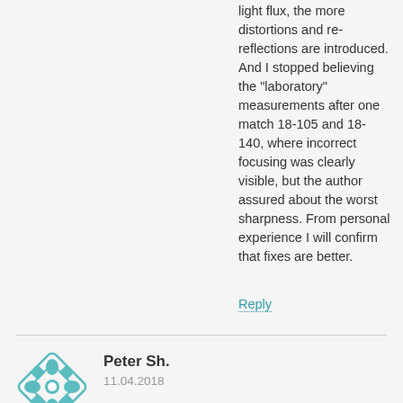light flux, the more distortions and re-reflections are introduced. And I stopped believing the "laboratory" measurements after one match 18-105 and 18-140, where incorrect focusing was clearly visible, but the author assured about the worst sharpness. From personal experience I will confirm that fixes are better.
Reply
[Figure (illustration): Teal geometric ornamental avatar icon with diamond and floral pattern]
Peter Sh.
11.04.2018
1. Following the laws of physical and geometric optics, the use of black and white targets for lens tests is absolutely useless.
2. The only laboratory studies that have scientifically based results can be carried out at the research institute. The rest cannot be used for any serious conclusions for obvious reasons.

As one of my colleagues said - do not read Wikipedia, you will become a goat.
Reply